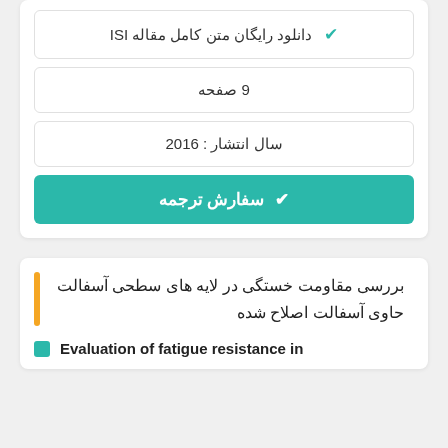✔ دانلود رایگان متن کامل مقاله ISI
9 صفحه
سال انتشار : 2016
✔ سفارش ترجمه
بررسی مقاومت خستگی در لایه های سطحی آسفالت حاوی آسفالت اصلاح شده
Evaluation of fatigue resistance in